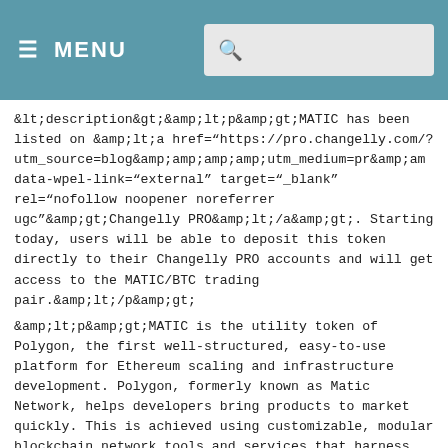≡ MENU [search bar]
&lt;description&gt;&amp;lt;p&amp;gt;MATIC has been listed on &amp;lt;a href="https://pro.changelly.com/?utm_source=blog&amp;amp;amp;utm_medium=pr&amp;am data-wpel-link="external" target="_blank" rel="nofollow noopener noreferrer ugc"&amp;gt;Changelly PRO&amp;lt;/a&amp;gt;. Starting today, users will be able to deposit this token directly to their Changelly PRO accounts and will get access to the MATIC/BTC trading pair.&amp;lt;/p&amp;gt;
&amp;lt;p&amp;gt;MATIC is the utility token of Polygon, the first well-structured, easy-to-use platform for Ethereum scaling and infrastructure development. Polygon, formerly known as Matic Network, helps developers bring products to market quickly. This is achieved using customizable, modular blockchain network tools and services that harness the power of the Ethereum network, without the drawbacks associated with high transaction fees and network congestion. As such,